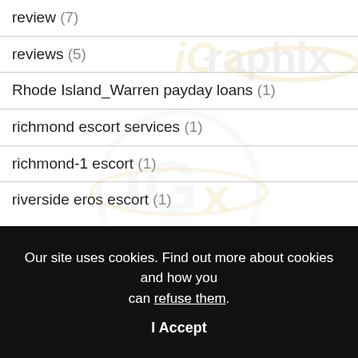review (7)
reviews (5)
Rhode Island_Warren payday loans (1)
richmond escort services (1)
richmond-1 escort (1)
riverside eros escort (1)
Our site uses cookies. Find out more about cookies and how you can refuse them.
I Accept